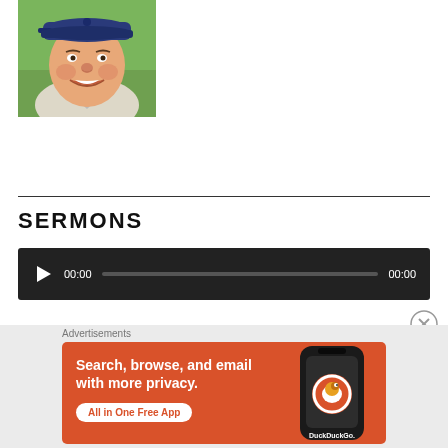[Figure (illustration): Painted caricature portrait of a smiling man wearing a navy blue baseball cap and light-colored shirt, painted in a colorful illustrative style with green background.]
SERMONS
[Figure (other): Audio player widget with dark background, play button, time display showing 00:00, progress bar, and end time 00:00.]
Advertisements
[Figure (illustration): DuckDuckGo advertisement banner with orange background. Text reads: Search, browse, and email with more privacy. All in One Free App. Shows a smartphone with DuckDuckGo logo.]